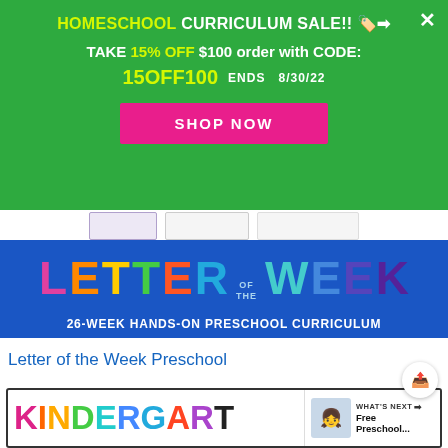HOMESCHOOL CURRICULUM SALE!! 🏷️➡
TAKE 15% OFF $100 order with CODE:
15OFF100   ENDS  8/30/22
SHOP NOW
[Figure (illustration): Letter of the Week - 26-Week Hands-On Preschool Curriculum banner with colorful letters]
Letter of the Week Preschool
[Figure (illustration): Kindergarten curriculum banner with colorful letters. 'What's Next' overlay showing Free Preschool...]